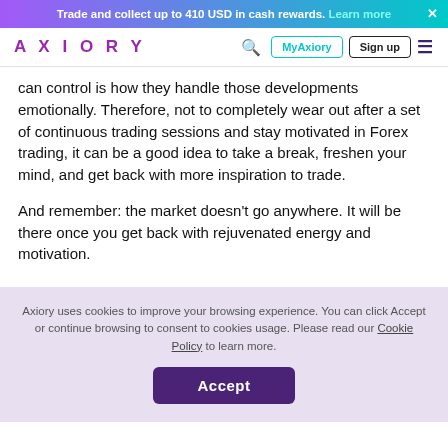Trade and collect up to 410 USD in cash rewards. Learn more ×
AXIORY | MyAxiory | Sign up
can control is how they handle those developments emotionally. Therefore, not to completely wear out after a set of continuous trading sessions and stay motivated in Forex trading, it can be a good idea to take a break, freshen your mind, and get back with more inspiration to trade.
And remember: the market doesn't go anywhere. It will be there once you get back with rejuvenated energy and motivation.
Axiory uses cookies to improve your browsing experience. You can click Accept or continue browsing to consent to cookies usage. Please read our Cookie Policy to learn more.